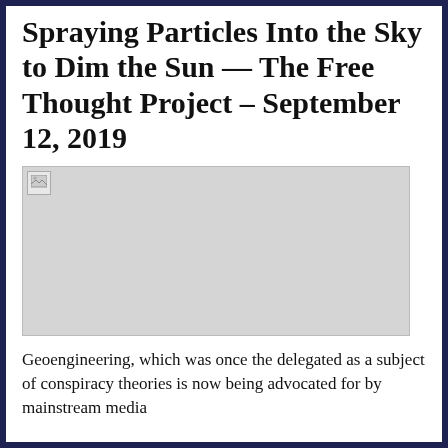Spraying Particles Into the Sky to Dim the Sun — The Free Thought Project – September 12, 2019
[Figure (photo): Broken/missing image placeholder (gray rectangle with small image icon in top-left corner)]
Geoengineering, which was once the delegated as a subject of conspiracy theories is now being advocated for by mainstream media